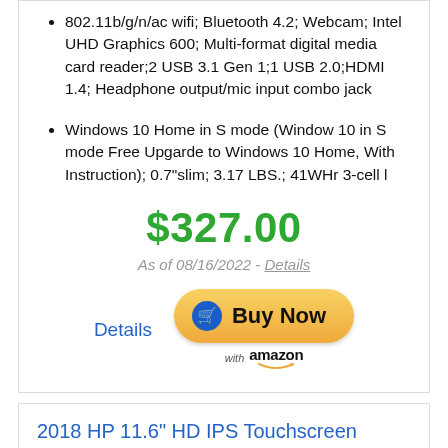802.11b/g/n/ac wifi; Bluetooth 4.2; Webcam; Intel UHD Graphics 600; Multi-format digital media card reader;2 USB 3.1 Gen 1;1 USB 2.0;HDMI 1.4; Headphone output/mic input combo jack
Windows 10 Home in S mode (Window 10 in S mode Free Upgarde to Windows 10 Home, With Instruction); 0.7"slim; 3.17 LBS.; 41WHr 3-cell l
$327.00
As of 08/16/2022 - Details
Details  Buy Now  with amazon
2018 HP 11.6" HD IPS Touchscreen Chromebook with 3x Faster WiFi – Intel